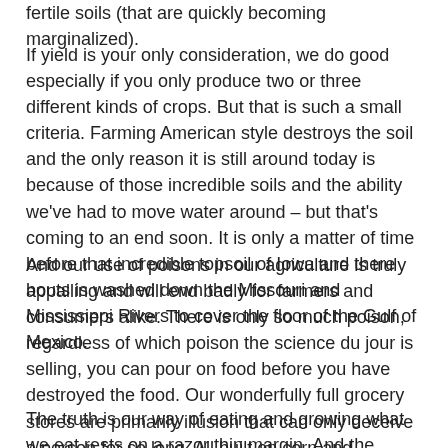fertile soils (that are quickly becoming marginalized).
If yield is your only consideration, we do good especially if you only produce two or three different kinds of crops. But that is such a small criteria. Farming American style destroys the soil and the only reason it is still around today is because of those incredible soils and the ability we've had to move water around – but that's coming to an end soon. It is only a matter of time before that incredible topsoil of Iowa and there bouts is washed down the Missouri and Mississippi Rivers to cover the floor of the Gulf of Mexico.
And our use of poisons in our agriculture is truly appalling and will end badly for farmers and consumers alike. There is only so much poison, regardless of which poison the science du jour is selling, you can pour on food before you have destroyed the food. Our wonderfully full grocery stores are primarily illusion that can only deceive a person for so long. All built on corn and soybeans.
The truth is our way of eating and growing what we eat rests on a razor thin margin. And the disrespect shown to our